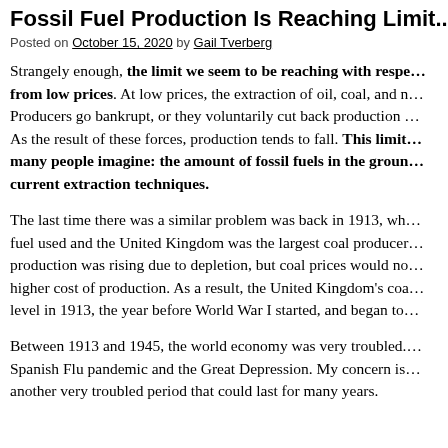Fossil Fuel Production Is Reaching Limit...
Posted on October 15, 2020 by Gail Tverberg
Strangely enough, the limit we seem to be reaching with respect to fossil fuels is a limit from low prices. At low prices, the extraction of oil, coal, and natural gas becomes unprofitable. Producers go bankrupt, or they voluntarily cut back production because prices are too low. As the result of these forces, production tends to fall. This limit is different from what many people imagine: the amount of fossil fuels in the ground that is extractable with current extraction techniques.
The last time there was a similar problem was back in 1913, when coal was the main fuel used and the United Kingdom was the largest coal producer. The cost of coal production was rising due to depletion, but coal prices would not rise to cover the higher cost of production. As a result, the United Kingdom's coal production hit a maximum level in 1913, the year before World War I started, and began to fall.
Between 1913 and 1945, the world economy was very troubled. There was World War I, the Spanish Flu pandemic and the Great Depression. My concern is that we are again entering another very troubled period that could last for many years.